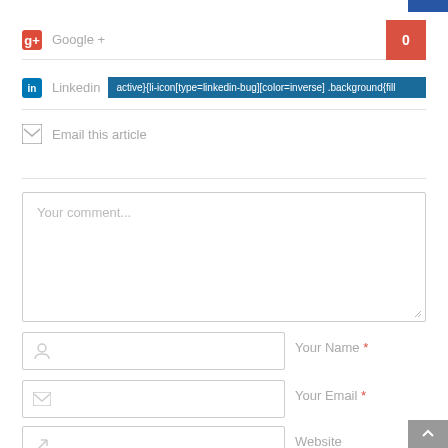[Figure (screenshot): Social sharing and comment form UI showing Google+, LinkedIn, Email sharing buttons and comment/name/email/website input fields]
Google +
0
Linkedin
active}{li-icon[type=linkedin-bug][color=inverse] .background{fill
Email this article
Your comment...
Your Name *
Your Email *
Website